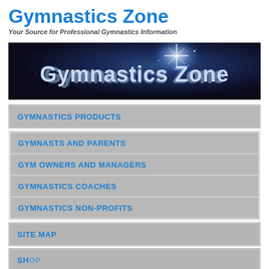Gymnastics Zone
Your Source for Professional Gymnastics Information
[Figure (illustration): Dark blue banner with sparkle/star effect and 'Gymnastics Zone' text in metallic/chrome lettering]
GYMNASTICS PRODUCTS
GYMNASTS AND PARENTS
GYM OWNERS AND MANAGERS
GYMNASTICS COACHES
GYMNASTICS NON-PROFITS
SITE MAP
SHOP